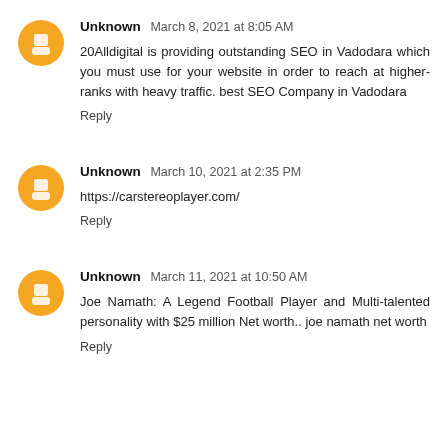Unknown March 8, 2021 at 8:05 AM
20Alldigital is providing outstanding SEO in Vadodara which you must use for your website in order to reach at higher-ranks with heavy traffic. best SEO Company in Vadodara
Reply
Unknown March 10, 2021 at 2:35 PM
https://carstereoplayer.com/
Reply
Unknown March 11, 2021 at 10:50 AM
Joe Namath: A Legend Football Player and Multi-talented personality with $25 million Net worth.. joe namath net worth
Reply